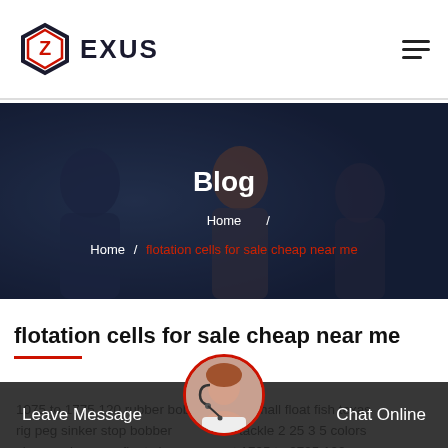ZEXUS (logo navigation bar)
[Figure (photo): Dark-toned banner photo of people in an office setting with a blue/dark overlay, containing the text 'Blog' and a breadcrumb navigation 'Home / flotation cells for sale cheap near me']
Blog
Home / flotation cells for sale cheap near me
flotation cells for sale cheap near me
1075 to 1775 120 rubber bobber stops small float fish texas rig peg sinker stop bobber al tackle 2 25 3 5 colors choose cigar peg floats bag count 1795 to 2795 120…
Leave Message   Chat Online